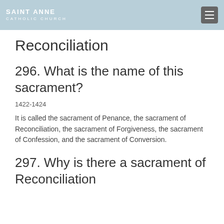SAINT ANNE CATHOLIC CHURCH
Reconciliation
296. What is the name of this sacrament?
1422-1424
It is called the sacrament of Penance, the sacrament of Reconciliation, the sacrament of Forgiveness, the sacrament of Confession, and the sacrament of Conversion.
297. Why is there a sacrament of Reconciliation